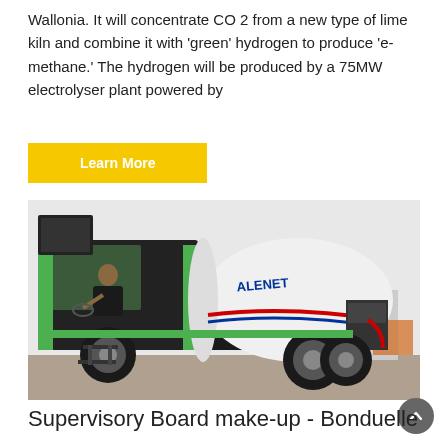Wallonia. It will concentrate CO 2 from a new type of lime kiln and combine it with 'green' hydrogen to produce 'e-methane.' The hydrogen will be produced by a 75MW electrolyser plant powered by
[Figure (other): Yellow 'Learn More' button]
[Figure (photo): A green self-loading concrete mixer truck (ALENET brand) with a person sitting in the cab, photographed outdoors on a gravel/concrete surface with industrial buildings in the background.]
Supervisory Board make-up - Bonduelle